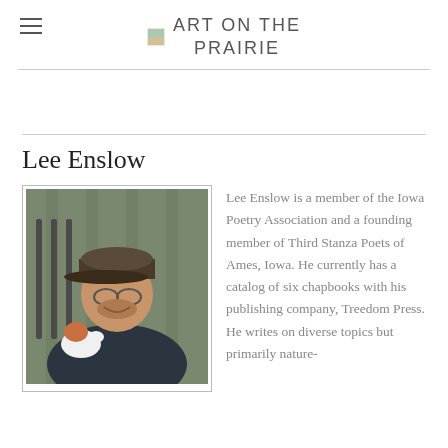ART ON THE PRAIRIE
Lee Enslow
[Figure (photo): Photo of Lee Enslow, a man wearing a cap and glasses, smiling, holding a small dog, standing in front of a fence]
Lee Enslow is a member of the Iowa Poetry Association and a founding member of Third Stanza Poets of Ames, Iowa. He currently has a catalog of six chapbooks with his publishing company, Treedom Press. He writes on diverse topics but primarily nature-